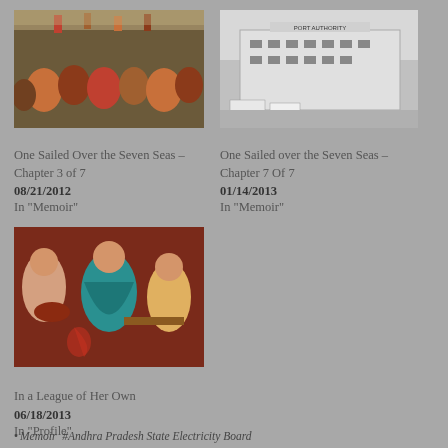[Figure (photo): Crowded train with people on top, colorful scene, Indian context]
One Sailed Over the Seven Seas – Chapter 3 of 7
08/21/2012
In "Memoir"
[Figure (photo): Black and white photo of a Port Authority building]
One Sailed over the Seven Seas – Chapter 7 Of 7
01/14/2013
In "Memoir"
[Figure (photo): Colorful painting of Indian musicians and dancers]
In a League of Her Own
06/18/2013
In "Profile"
• Memoir  #Andhra Pradesh State Electricity Board